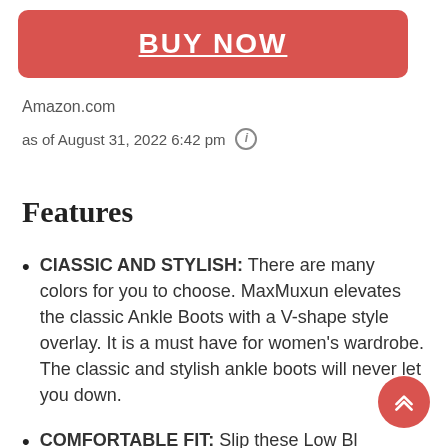[Figure (other): BUY NOW button — red rounded rectangle with white bold underlined text]
Amazon.com
as of August 31, 2022 6:42 pm ⓘ
Features
ClASSIC AND STYLISH: There are many colors for you to choose. MaxMuxun elevates the classic Ankle Boots with a V-shape style overlay. It is a must have for women's wardrobe. The classic and stylish ankle boots will never let you down.
COMFORTABLE FIT: Slip these Low Bl... Ankle Boots on easily and run around to... comfortably with these Round Toe boots that